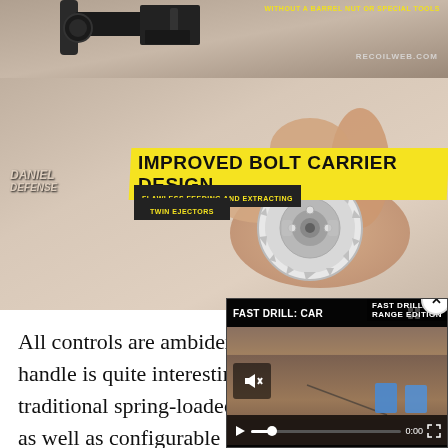[Figure (screenshot): Top panel showing rifle/firearm barrel and hardware with text overlay 'WITHOUT A BARREL NUT OR SPECIAL TOOLS' and 'RECOILWEB.COM' watermark]
[Figure (screenshot): Bottom panel showing close-up of bolt carrier component being held by hands, with yellow banner text 'IMPROVED BOLT CARRIER DESIGN', sub-text 'FLAWLESS FEEDING AND EXTRACTING' and 'TWIN EJECTORS', Daniel Defense logo top-left, RECOILWEB.COM watermark bottom-right]
All controls are ambidextro… handle is quite interesting … traditional spring-loaded la… as well as configurable ha…
[Figure (screenshot): Video overlay thumbnail showing 'FAST DRILL: CAR' title, outdoor shooting scene with blue targets, mute icon, play button, 0:00 timestamp, and FAST DRILL RANGE EDITION badge. Close (X) button top right.]